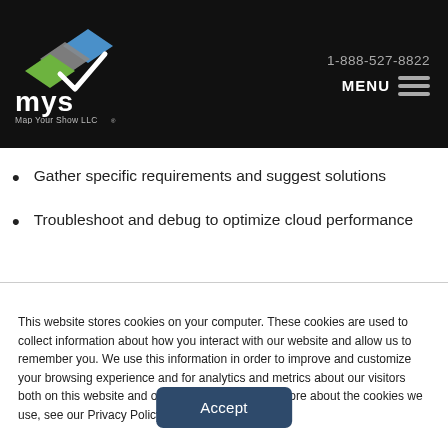[Figure (logo): Map Your Show LLC logo with diamond shapes in blue, gray, and green colors above stylized 'mys' text and the company name 'Map Your Show LLC®']
1-888-527-8822  MENU
Gather specific requirements and suggest solutions
Troubleshoot and debug to optimize cloud performance
This website stores cookies on your computer. These cookies are used to collect information about how you interact with our website and allow us to remember you. We use this information in order to improve and customize your browsing experience and for analytics and metrics about our visitors both on this website and other media. To find out more about the cookies we use, see our Privacy Policy.
Accept